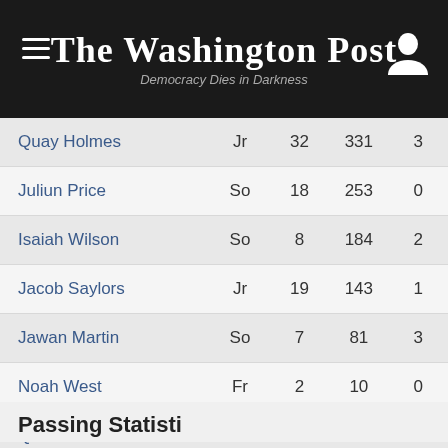The Washington Post — Democracy Dies in Darkness
| Player | Yr | Att | Yds | TD |
| --- | --- | --- | --- | --- |
| Quay Holmes | Jr | 32 | 331 | 3 |
| Juliun Price | So | 18 | 253 | 0 |
| Isaiah Wilson | So | 8 | 184 | 2 |
| Jacob Saylors | Jr | 19 | 143 | 1 |
| Jawan Martin | So | 7 | 81 | 3 |
| Noah West | Fr | 2 | 10 | 0 |
| Quinn Caballero | So | 1 | 6 | 0 |
Passing Statistics